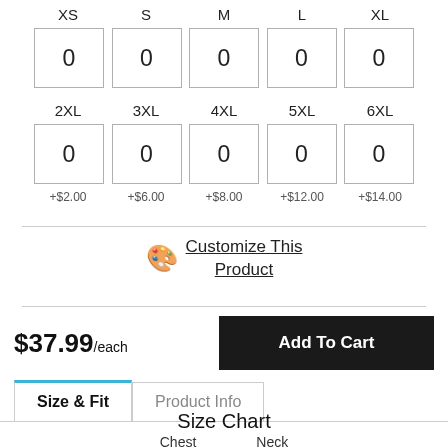| XS | S | M | L | XL |
| --- | --- | --- | --- | --- |
| 0 | 0 | 0 | 0 | 0 |
| 2XL | 3XL | 4XL | 5XL | 6XL |
| --- | --- | --- | --- | --- |
| 0 | 0 | 0 | 0 | 0 |
+$2.00  +$6.00  +$8.00  +$12.00  +$14.00
🎨 Customize This Product
$37.99/each
Add To Cart
Size & Fit
Product Info
Size Chart
Chest    Neck